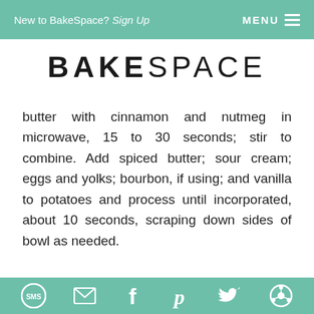New to BakeSpace? Sign Up  MENU ☰
BAKESPACE
butter with cinnamon and nutmeg in microwave, 15 to 30 seconds; stir to combine. Add spiced butter; sour cream; eggs and yolks; bourbon, if using; and vanilla to potatoes and process until incorporated, about 10 seconds, scraping down sides of bowl as needed.
5. Pour potato mixture into prepared pie shell. Bake until filling is set around edges but center registers 165 degrees and jiggles slightly when pie is shaken, 35 to 40 minutes. Let pie cool completely on wire
SMS  Email  Facebook  Pinterest  Twitter  Share